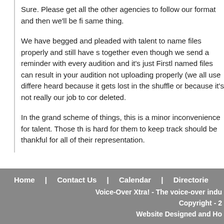Sure. Please get all the other agencies to follow our format and then we'll be fine doing the same thing.
We have begged and pleaded with talent to name files properly and still have s... together even though we send a reminder with every audition and it's just Firstl... named files can result in your audition not uploading properly (we all use differe... heard because it gets lost in the shuffle or because it's not really our job to cor... deleted.
In the grand scheme of things, this is a minor inconvenience for talent. Those t... is hard for them to keep track should be thankful for all of their representation.
To paraphrase the great Marc Cashman: "If you can't label your file as asked th... idiot and incapable of doing the job anyway."
Back to Articles
Home | Contact Us | Calendar | Directorie... Voice-Over Xtra! - The voice-over indu... Copyright - 2... Website Designed and Ho...